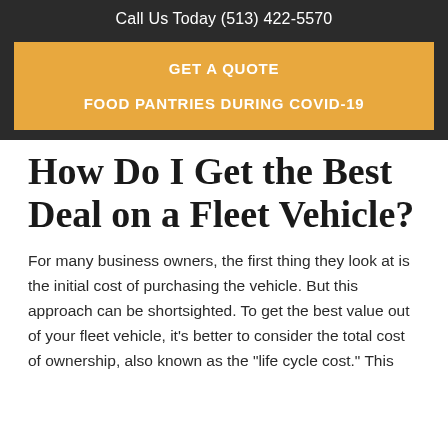Call Us Today (513) 422-5570
GET A QUOTE
FOOD PANTRIES DURING COVID-19
How Do I Get the Best Deal on a Fleet Vehicle?
For many business owners, the first thing they look at is the initial cost of purchasing the vehicle. But this approach can be shortsighted. To get the best value out of your fleet vehicle, it's better to consider the total cost of ownership, also known as the "life cycle cost." This